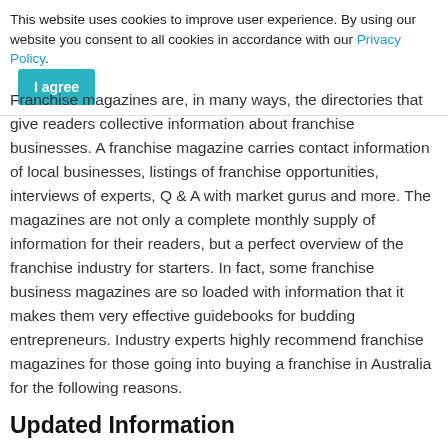This website uses cookies to improve user experience. By using our website you consent to all cookies in accordance with our Privacy Policy. I agree
Franchise magazines are, in many ways, the directories that give readers collective information about franchise businesses. A franchise magazine carries contact information of local businesses, listings of franchise opportunities, interviews of experts, Q & A with market gurus and more. The magazines are not only a complete monthly supply of information for their readers, but a perfect overview of the franchise industry for starters. In fact, some franchise business magazines are so loaded with information that it makes them very effective guidebooks for budding entrepreneurs. Industry experts highly recommend franchise magazines for those going into buying a franchise in Australia for the following reasons.
Updated Information
A franchise business magazine contains nothing but updated information. Most magazines have monthly issues which journalists